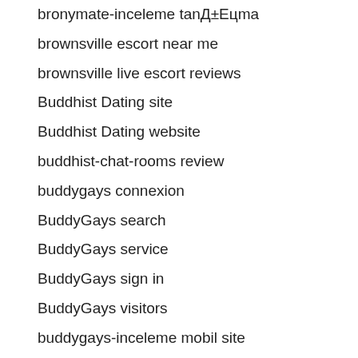bronymate-inceleme tanД±Eцma
brownsville escort near me
brownsville live escort reviews
Buddhist Dating site
Buddhist Dating website
buddhist-chat-rooms review
buddygays connexion
BuddyGays search
BuddyGays service
BuddyGays sign in
BuddyGays visitors
buddygays-inceleme mobil site
buddygays-inceleme tanД±Eцma
buddyjskie-randki reddit
buffalo escort index